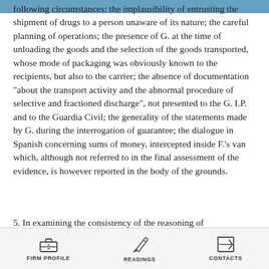following circumstances: the implausibility of entrusting the shipment of drugs to a person unaware of its nature; the careful planning of operations; the presence of G. at the time of unloading the goods and the selection of the goods transported, whose mode of packaging was obviously known to the recipients, but also to the carrier; the absence of documentation "about the transport activity and the abnormal procedure of selective and fractioned discharge", not presented to the G. I.P. and to the Guardia Civil; the generality of the statements made by G. during the interrogation of guarantee; the dialogue in Spanish concerning sums of money, intercepted inside F.'s van which, although not referred to in the final assessment of the evidence, is however reported in the body of the grounds.
5. In examining the consistency of the reasoning of
FIRM PROFILE    READINGS    CONTACTS